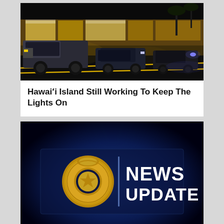[Figure (photo): Night street scene with trucks and cars parked in front of lit storefronts, palm trees visible in background]
Hawaiʻi Island Still Working To Keep The Lights On
[Figure (photo): Hawaii Police Department badge logo on left with vertical divider and text NEWS UPDATE on dark blue background]
Boy Scout Shooting Death Update, Child Identified